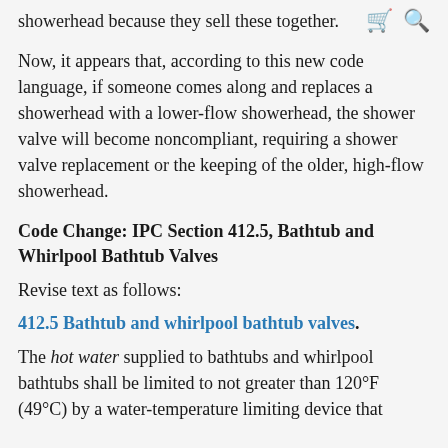showerhead because they sell these together.
Now, it appears that, according to this new code language, if someone comes along and replaces a showerhead with a lower-flow showerhead, the shower valve will become noncompliant, requiring a shower valve replacement or the keeping of the older, high-flow showerhead.
Code Change: IPC Section 412.5, Bathtub and Whirlpool Bathtub Valves
Revise text as follows:
412.5 Bathtub and whirlpool bathtub valves.
The hot water supplied to bathtubs and whirlpool bathtubs shall be limited to not greater than 120°F (49°C) by a water-temperature limiting device that